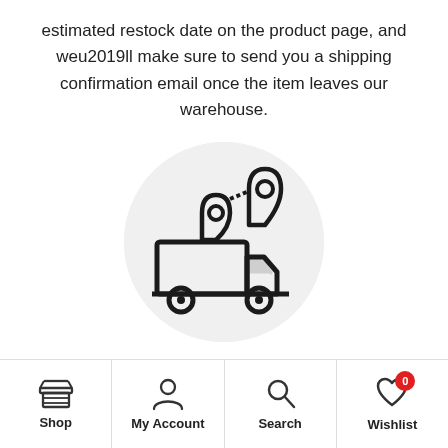estimated restock date on the product page, and weu2019ll make sure to send you a shipping confirmation email once the item leaves our warehouse.
[Figure (illustration): A delivery truck with two location pin markers above it, on a light gray circular background, representing shipping/tracking.]
Shop | My Account | Search | Wishlist (0)